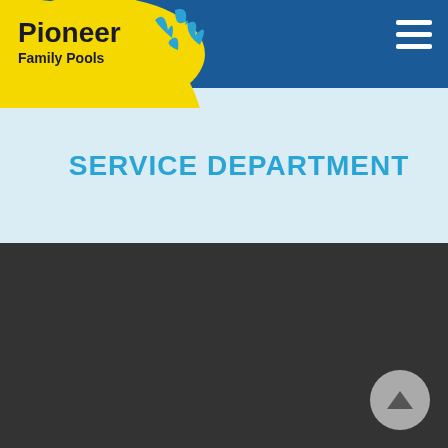[Figure (logo): Pioneer Family Pools logo with yellow blob background and blue water splash graphic]
SERVICE DEPARTMENT
[Figure (photo): Dark background section, likely a video or image placeholder area]
[Figure (other): Scroll to top button - circular grey button with upward arrow]